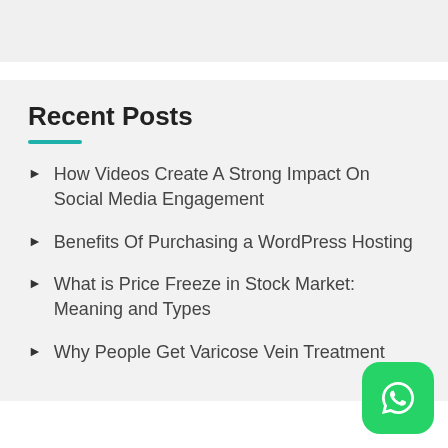Recent Posts
How Videos Create A Strong Impact On Social Media Engagement
Benefits Of Purchasing a WordPress Hosting
What is Price Freeze in Stock Market: Meaning and Types
Why People Get Varicose Vein Treatment
[Figure (logo): WhatsApp button icon in green rounded square at bottom right]